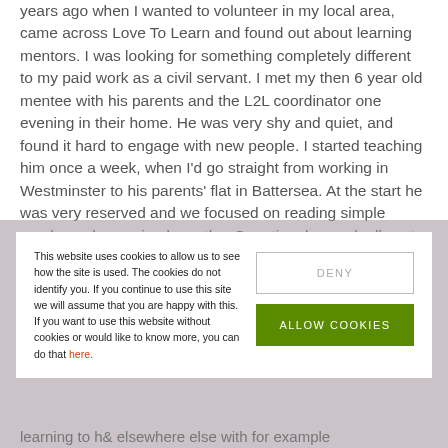years ago when I wanted to volunteer in my local area, came across Love To Learn and found out about learning mentors. I was looking for something completely different to my paid work as a civil servant. I met my then 6 year old mentee with his parents and the L2L coordinator one evening in their home. He was very shy and quiet, and found it hard to engage with new people. I started teaching him once a week, when I'd go straight from working in Westminster to his parents' flat in Battersea. At the start he was very reserved and we focused on reading simple words, and very simple maths. Over time he gradually got used to me and started telling
This website uses cookies to allow us to see how the site is used. The cookies do not identify you. If you continue to use this site we will assume that you are happy with this. If you want to use this website without cookies or would like to know more, you can do that here.
DENY
ALLOW COOKIES
learning to ML elsewhere else with for example